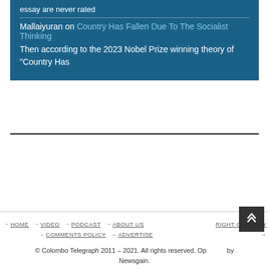essay are never rated
Mallaiyuran on Country Has Fallen Due To The Socialist Thinking
Then according to the 2023 Nobel Prize winning theory of “Country Has
→ HOME  → VIDEO  → PODCAST  → ABOUT US  RIGHT OF REPLY →  → COMMENTS POLICY  → ADVERTISE  © Colombo Telegraph 2011 – 2021. All rights reserved. Operated by Newsgain.